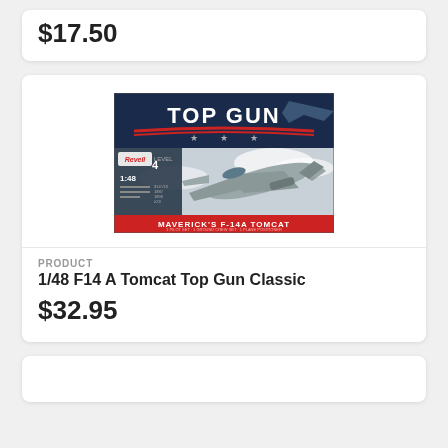$17.50
[Figure (photo): Revell 1/48 F14A Tomcat Top Gun Classic model kit box art showing the Top Gun logo and Maverick's F-14A Tomcat fighter jet]
PRODUCT
1/48 F14 A Tomcat Top Gun Classic
$32.95